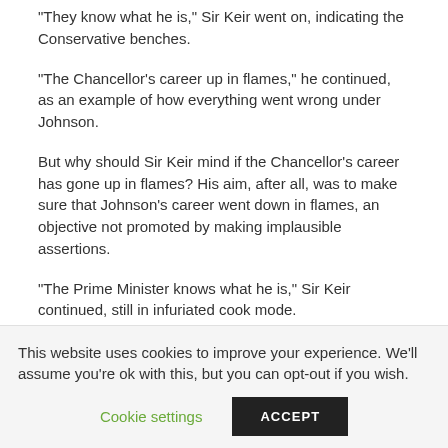“They know what he is,” Sir Keir went on, indicating the Conservative benches.
“The Chancellor’s career up in flames,” he continued, as an example of how everything went wrong under Johnson.
But why should Sir Keir mind if the Chancellor’s career has gone up in flames? His aim, after all, was to make sure that Johnson’s career went down in flames, an objective not promoted by making implausible assertions.
“The Prime Minister knows what he is,” Sir Keir continued, still in infuriated cook mode.
This website uses cookies to improve your experience. We'll assume you're ok with this, but you can opt-out if you wish.